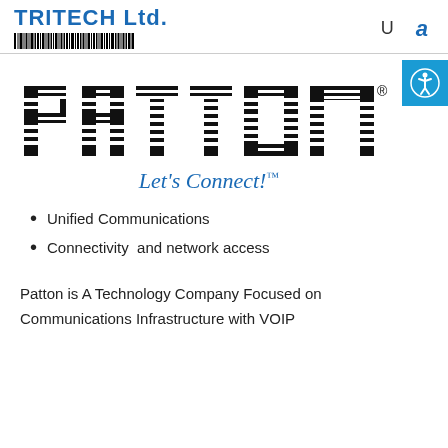TRITECH Ltd.
[Figure (logo): PATTON logo with striped lettering and 'Let's Connect!' tagline in blue cursive with TM mark]
Unified Communications
Connectivity  and network access
Patton is A Technology Company Focused on Communications Infrastructure with VOIP